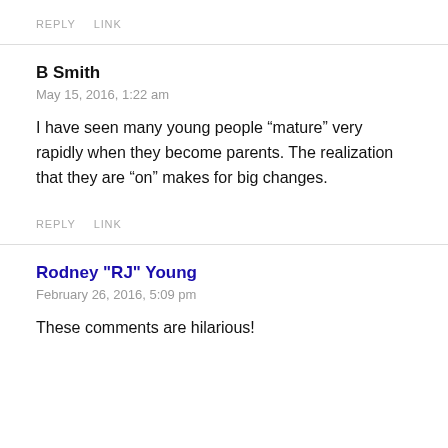REPLY   LINK
B Smith
May 15, 2016, 1:22 am
I have seen many young people “mature” very rapidly when they become parents. The realization that they are “on” makes for big changes.
REPLY   LINK
Rodney "RJ" Young
February 26, 2016, 5:09 pm
These comments are hilarious!